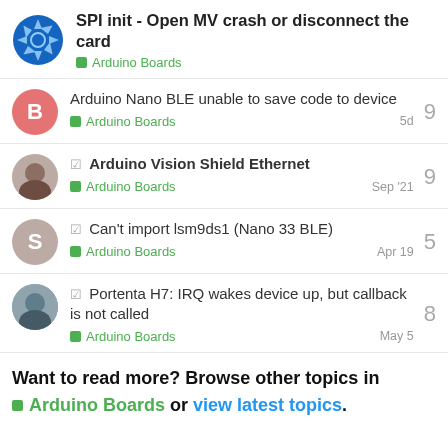SPI init - Open MV crash or disconnect the card — Arduino Boards
Arduino Nano BLE unable to save code to device — Arduino Boards — 5d — 9 replies
✓ Arduino Vision Shield Ethernet — Arduino Boards — Sep '21 — 9 replies
✓ Can't import lsm9ds1 (Nano 33 BLE) — Arduino Boards — Apr 19 — 5 replies
✓ Portenta H7: IRQ wakes device up, but callback is not called — Arduino Boards — May 5 — 8 replies
Want to read more? Browse other topics in Arduino Boards or view latest topics.